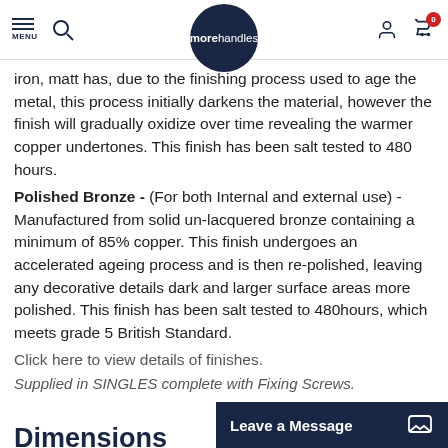morehandles — navigation header with menu, search, logo, account, cart
iron, matt has, due to the finishing process used to age the metal, this process initially darkens the material, however the finish will gradually oxidize over time revealing the warmer copper undertones. This finish has been salt tested to 480 hours.
Polished Bronze - (For both Internal and external use) - Manufactured from solid un-lacquered bronze containing a minimum of 85% copper. This finish undergoes an accelerated ageing process and is then re-polished, leaving any decorative details dark and larger surface areas more polished. This finish has been salt tested to 480hours, which meets grade 5 British Standard.
Click here to view details of finishes.
Supplied in SINGLES complete with Fixing Screws.
Dimensions
Overall Length  166mm